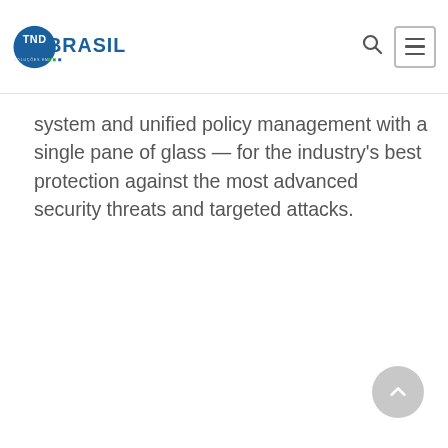TND Brasil - Soluções em TI
system and unified policy management with a single pane of glass — for the industry's best protection against the most advanced security threats and targeted attacks.